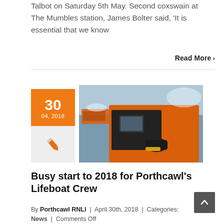Talbot on Saturday 5th May. Second coxswain at The Mumbles station, James Bolter said, 'It is essential that we know
Read More >
[Figure (photo): Photo of an orange RNLI lifeboat interior with a crew member's hand visible, another lifeboat visible in the background on water]
Busy start to 2018 for Porthcawl's Lifeboat Crew
By Porthcawl RNLI | April 30th, 2018 | Categories: News | Comments Off